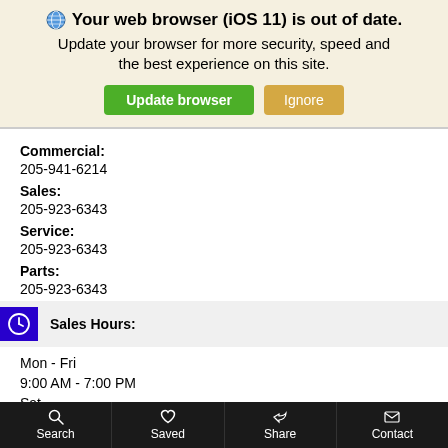Your web browser (iOS 11) is out of date. Update your browser for more security, speed and the best experience on this site. [Update browser] [Ignore]
Commercial:
205-941-6214
Sales:
205-923-6343
Service:
205-923-6343
Parts:
205-923-6343
Sales Hours:
Mon - Fri
9:00 AM - 7:00 PM
Sat
9:00 AM - 6:00 PM
Search   Saved   Share   Contact